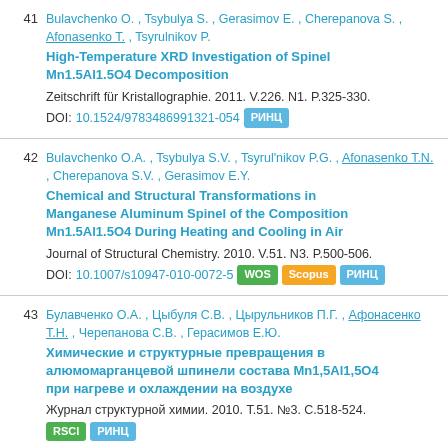41 Bulavchenko O. , Tsybulya S. , Gerasimov E. , Cherepanova S. , Afonasenko T. , Tsyrulnikov P. High-Temperature XRD Investigation of Spinel Mn1.5Al1.5O4 Decomposition Zeitschrift für Kristallographie. 2011. V.226. N1. P.325-330. DOI: 10.1524/9783486991321-054 РИНЦ
42 Bulavchenko O.A. , Tsybulya S.V. , Tsyrul'nikov P.G. , Afonasenko T.N. , Cherepanova S.V. , Gerasimov E.Y. Chemical and Structural Transformations in Manganese Aluminum Spinel of the Composition Mn1.5Al1.5O4 During Heating and Cooling in Air Journal of Structural Chemistry. 2010. V.51. N3. P.500-506. DOI: 10.1007/s10947-010-0072-5 WOS Scopus РИНЦ
43 Булавченко О.А. , Цыбуля С.В. , Цырульников П.Г. , Афонасенко Т.Н. , Черепанова С.В. , Герасимов Е.Ю. Химические и структурные превращения в алюмомарганцевой шпинели состава Mn1,5Al1,5O4 при нагреве и охлаждении на воздухе Журнал структурной химии. 2010. Т.51. №3. С.518-524. RSCI РИНЦ